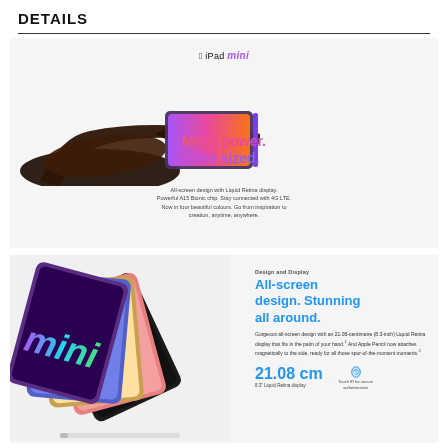DETAILS
[Figure (photo): iPad mini held in a hand showing its slim profile with a colorful gradient screen. Text overlay: Apple iPad mini logo at top, 'Mega power. Mini sized.' in gradient text, and description text below.]
[Figure (photo): Multiple iPad mini tablets in different colors stacked/fanned out, showing colorful 'mini' text on screens. Right side shows 'Design and Display' section header, 'All-screen design. Stunning all around.' heading in blue, description text, '21.08 cm' measurement in blue, and Touch ID icon.]